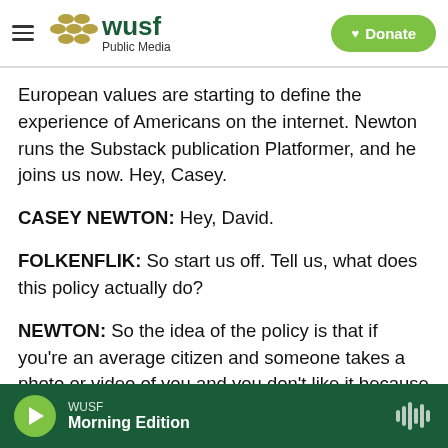WUSF Public Media — navigation bar with logo and Donate button
European values are starting to define the experience of Americans on the internet. Newton runs the Substack publication Platformer, and he joins us now. Hey, Casey.
CASEY NEWTON: Hey, David.
FOLKENFLIK: So start us off. Tell us, what does this policy actually do?
NEWTON: So the idea of the policy is that if you're an average citizen and someone takes a photo or video of you and you don't like it because you feel
WUSF Morning Edition — audio player bar